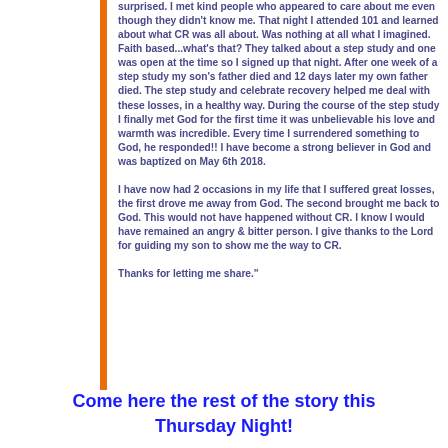surprised. I met kind people who appeared to care about me even though they didn't know me. That night I attended 101 and learned about what CR was all about. Was nothing at all what I imagined.  Faith based...what's that?  They talked about a step study and one was open at the time so I signed up that night. After one week of a step study my son's father died and 12 days later my own father died.  The step study and celebrate recovery helped me deal with these losses, in a healthy way.  During the course of the step study I finally met God for the first time it was unbelievable his love and warmth was incredible.  Every time I surrendered something to God, he responded!!  I have become a strong believer in God and was baptized on May 6th 2018.

I have now had  2 occasions in my life that I suffered great losses, the first drove me away from God.  The second brought me back to God.  This would not have happened without CR.  I know I would have remained an angry & bitter person.  I give thanks to the Lord for guiding my son to show me the way to CR.

Thanks for letting me share."
Come here the rest of the story this Thursday Night!